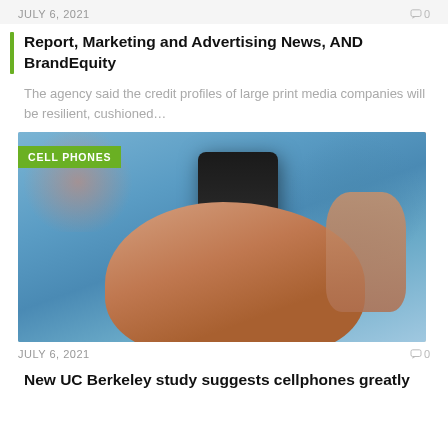JULY 6, 2021  0
Report, Marketing and Advertising News, AND BrandEquity
The agency said the credit profiles of large print media companies will be resilient, cushioned…
[Figure (photo): Person holding a smartphone, wearing a blue shirt. A green badge labeled 'CELL PHONES' overlays the top-left corner of the image.]
JULY 6, 2021  0
New UC Berkeley study suggests cellphones greatly